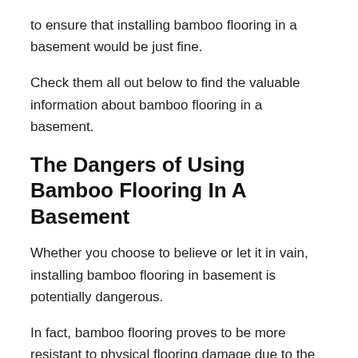to ensure that installing bamboo flooring in a basement would be just fine.
Check them all out below to find the valuable information about bamboo flooring in a basement.
The Dangers of Using Bamboo Flooring In A Basement
Whether you choose to believe or let it in vain, installing bamboo flooring in basement is potentially dangerous.
In fact, bamboo flooring proves to be more resistant to physical flooring damage due to the existence of moisture than the hardwood.